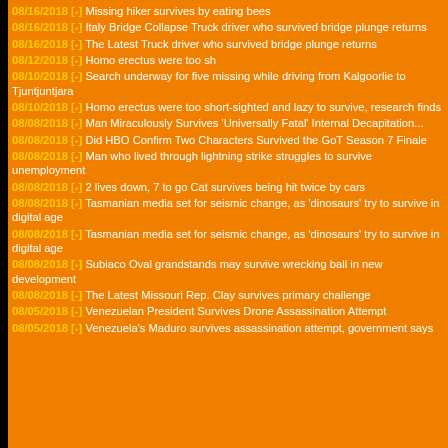08/16/2018 [-] Missing hiker survives by eating bees
08/16/2018 [-] Italy Bridge Collapse Truck driver who survived bridge plunge returns
08/16/2018 [-] The Latest Truck driver who survived bridge plunge returns
08/12/2018 [-] Homo erectus were too sh
08/10/2018 [-] Search underway for five missing while driving from Kalgoorlie to Tjuntjuntjara
08/10/2018 [-] Homo erectus were too short-sighted and lazy to survive, research finds
08/08/2018 [-] Man Miraculously Survives 'Universally Fatal' Internal Decapitation...
08/08/2018 [-] Did HBO Confirm Two Characters Survived the GoT Season 7 Finale
08/08/2018 [-] Man who lived through lightning strike struggles to survive unemployment
08/08/2018 [-] 2 lives down, 7 to go Cat survives being hit twice by cars
08/08/2018 [-] Tasmanian media set for seismic change, as 'dinosaurs' try to survive in digital age
08/08/2018 [-] Tasmanian media set for seismic change, as 'dinosaurs' try to survive in digital age
08/08/2018 [-] Subiaco Oval grandstands may survive wrecking ball in new development
08/08/2018 [-] The Latest Missouri Rep. Clay survives primary challenge
08/05/2018 [-] Venezuelan President Survives Drone Assassination Attempt
08/05/2018 [-] Venezuela's Maduro survives assassination attempt, government says